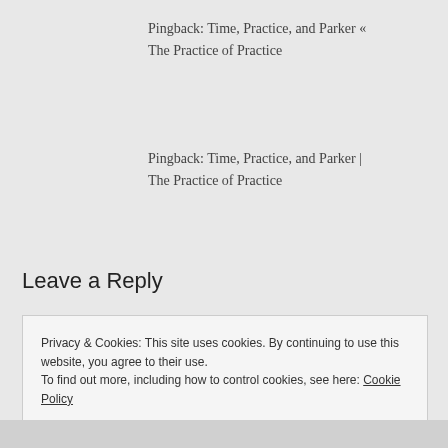Pingback: Time, Practice, and Parker « The Practice of Practice
Pingback: Time, Practice, and Parker | The Practice of Practice
Leave a Reply
Privacy & Cookies: This site uses cookies. By continuing to use this website, you agree to their use.
To find out more, including how to control cookies, see here: Cookie Policy
Close and accept